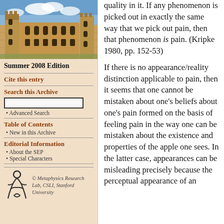[Figure (photo): Photo of a university building (stone architecture with courtyards and blue sky)]
Summer 2008 Edition
Cite this entry
Search this Archive
Advanced Search
Table of Contents
New in this Archive
Editorial Information
About the SEP
Special Characters
[Figure (logo): Metaphysics Research Lab, CSLI, Stanford University logo with stylized figure]
© Metaphysics Research Lab, CSLI, Stanford University
quality in it. If any phenomenon is picked out in exactly the same way that we pick out pain, then that phenomenon is pain. (Kripke 1980, pp. 152-53)
If there is no appearance/reality distinction applicable to pain, then it seems that one cannot be mistaken about one's beliefs about one's pain formed on the basis of feeling pain in the way one can be mistaken about the existence and properties of the apple one sees. In the latter case, appearances can be misleading precisely because the perceptual appearance of an